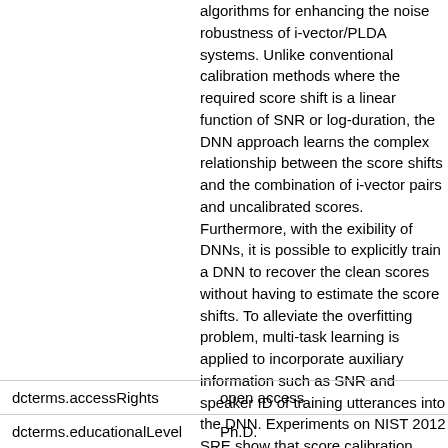algorithms for enhancing the noise robustness of i-vector/PLDA systems. Unlike conventional calibration methods where the required score shift is a linear function of SNR or log-duration, the DNN approach learns the complex relationship between the score shifts and the combination of i-vector pairs and uncalibrated scores. Furthermore, with the exibility of DNNs, it is possible to explicitly train a DNN to recover the clean scores without having to estimate the score shifts. To alleviate the overfitting problem, multi-task learning is applied to incorporate auxiliary information such as SNR and speaker ID of training utterances into the DNN. Experiments on NIST 2012 SRE show that score calibration derived from multi-task DNNs can improve the performance of the conventional score-shift approach significantly, especially under noisy conditions.
| Property | Value |
| --- | --- |
| dcterms.accessRights | open access |
| dcterms.educationalLevel | Ph.D. |